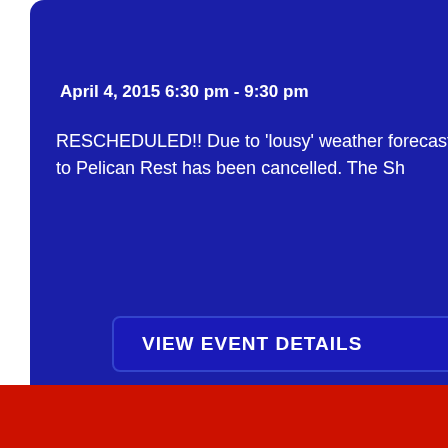View Details
April 4, 2015 6:30 pm - 9:30 pm
RESCHEDULED!! Due to 'lousy' weather forecast for Sat, March 21, the cruise to Pelican Rest has been cancelled. The Sh
VIEW EVENT DETAILS
Crawfish Boil
Expired
We're sorry, but all tickets sales have ended because the event is expired.
View Details